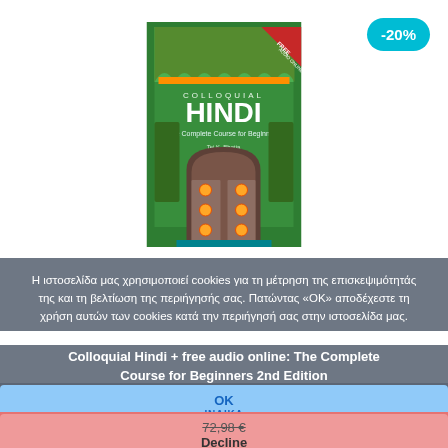[Figure (photo): Book cover of 'Colloquial Hindi: The Complete Course for Beginners' showing an ornate Indian door/gateway with green arch and decorative wooden doors]
-20%
Η ιστοσελίδα μας χρησιμοποιεί cookies για τη μέτρηση της επισκεψιμότητάς της και τη βελτίωση της περιήγησής σας. Πατώντας «ΟΚ» αποδέχεστε τη χρήση αυτών των cookies κατά την περιήγησή σας στην ιστοσελίδα μας.
Colloquial Hindi + free audio online: The Complete Course for Beginners 2nd Edition
ΙΝΔΙΚΑ
OK
Decline
72,98 € 58,46 €